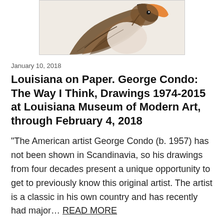[Figure (illustration): Partial view of a bird (pelican or similar) illustration/drawing, cropped at top, showing head and upper body with brown and black tones on a pale background]
January 10, 2018
Louisiana on Paper. George Condo: The Way I Think, Drawings 1974-2015 at Louisiana Museum of Modern Art, through February 4, 2018
“The American artist George Condo (b. 1957) has not been shown in Scandinavia, so his drawings from four decades present a unique opportunity to get to previously know this original artist. The artist is a classic in his own country and has recently had major… READ MORE
Filed under: Museums